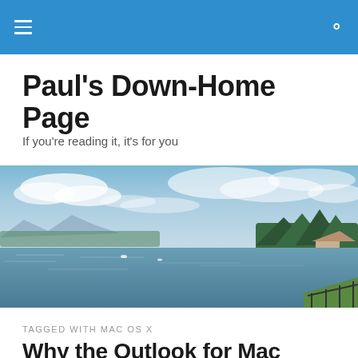Paul's Down-Home Page — navigation bar
Paul's Down-Home Page
If you're reading it, it's for you
[Figure (photo): Panoramic lakeside photo with mountains in the background, open sky with clouds, trees on the right, and a waterfront railing in the lower right corner.]
TAGGED WITH MAC OS X
Why the Outlook for Mac folder pane changes colors